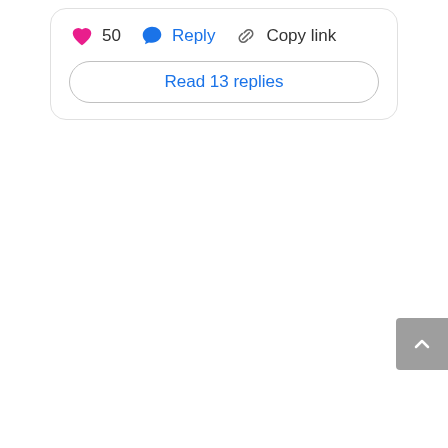[Figure (screenshot): Social media comment action bar showing a pink heart icon with count '50', a blue reply bubble icon with label 'Reply', and a chain link icon with label 'Copy link', followed by a 'Read 13 replies' button with rounded border in blue text. A gray back-to-top button with a chevron/caret is visible at the bottom right.]